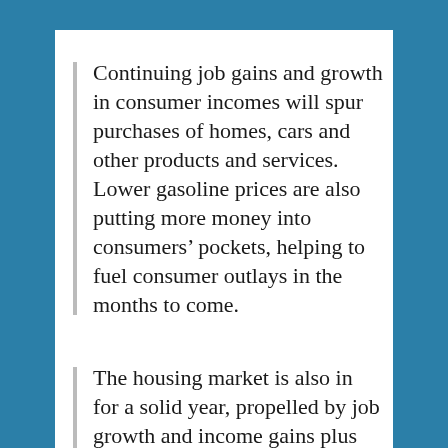Continuing job gains and growth in consumer incomes will spur purchases of homes, cars and other products and services. Lower gasoline prices are also putting more money into consumers' pockets, helping to fuel consumer outlays in the months to come.
The housing market is also in for a solid year, propelled by job growth and income gains plus an increase in household formations and